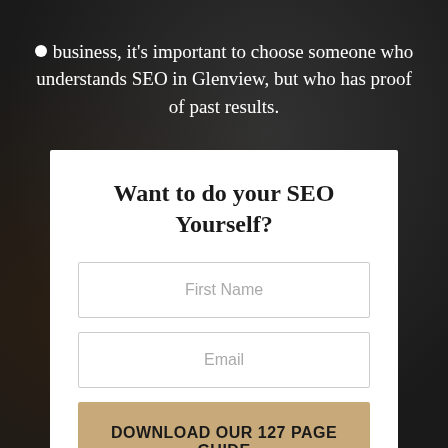business, it's important to choose someone who understands SEO in Glenview, but who has proof of past results.
Want to do your SEO Yourself?
First Name
Email
DOWNLOAD OUR 127 PAGE GUIDE